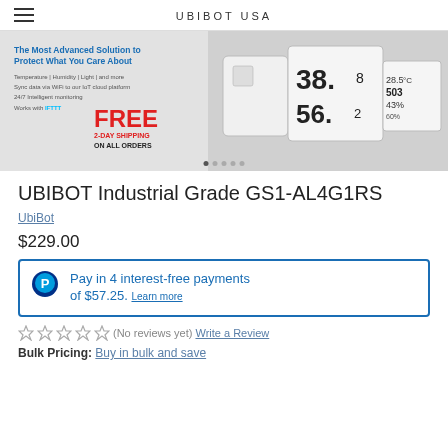UBIBOT USA
[Figure (photo): Promotional banner for UbiBot USA showing IoT sensor devices displaying temperature and humidity readings (38.8, 56.2, 28.5°C, 503, 43%) with text 'The Most Advanced Solution to Protect What You Care About', 'Temperature | Humidity | Light | and more', 'Sync data via WiFi to our IoT cloud platform', '24/7 Intelligent monitoring', 'Works with IFTTT', and 'FREE 2-DAY SHIPPING ON ALL ORDERS']
UBIBOT Industrial Grade GS1-AL4G1RS
UbiBot
$229.00
Pay in 4 interest-free payments of $57.25. Learn more
(No reviews yet) Write a Review
Bulk Pricing: Buy in bulk and save